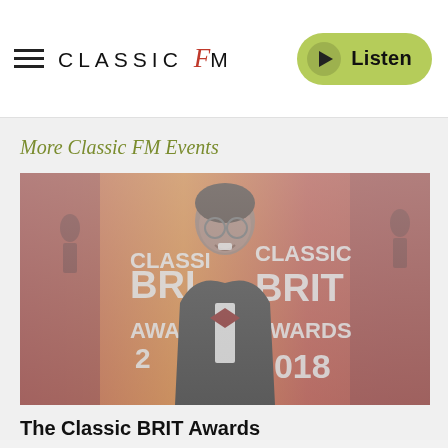CLASSIC FM | Listen
More Classic FM Events
[Figure (photo): A man in a tuxedo with bow tie smiling at the Classic BRIT Awards 2018 red carpet event, with Classic BRIT Awards 2018 text visible on backdrop behind him.]
The Classic BRIT Awards